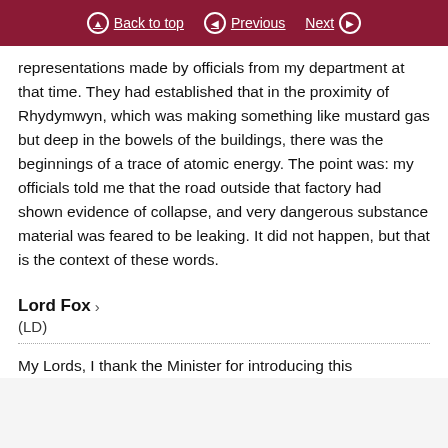Back to top | Previous | Next
representations made by officials from my department at that time. They had established that in the proximity of Rhydymwyn, which was making something like mustard gas but deep in the bowels of the buildings, there was the beginnings of a trace of atomic energy. The point was: my officials told me that the road outside that factory had shown evidence of collapse, and very dangerous substance material was feared to be leaking. It did not happen, but that is the context of these words.
Lord Fox
(LD)
My Lords, I thank the Minister for introducing this